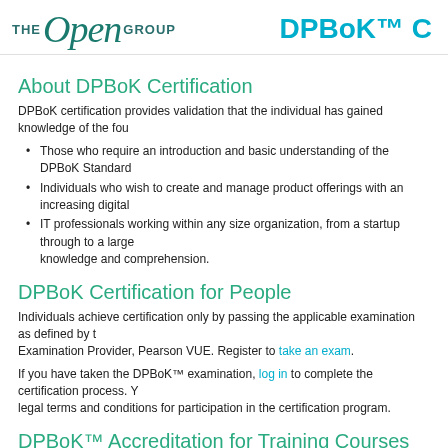THE Open GROUP   DPBoK™ C
About DPBoK Certification
DPBoK certification provides validation that the individual has gained knowledge of the fou
Those who require an introduction and basic understanding of the DPBoK Standard
Individuals who wish to create and manage product offerings with an increasing digital
IT professionals working within any size organization, from a startup through to a large knowledge and comprehension.
DPBoK Certification for People
Individuals achieve certification only by passing the applicable examination as defined by the Examination Provider, Pearson VUE. Register to take an exam.
If you have taken the DPBoK™ examination, log in to complete the certification process. Y legal terms and conditions for participation in the certification program.
DPBoK™ Accreditation for Training Courses
Learn about getting your DPBoK training course accredited
Resources for Certified Individuals